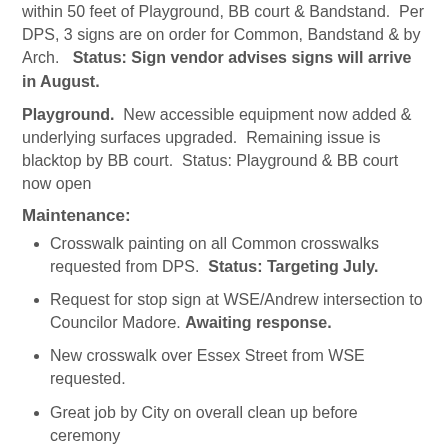within 50 feet of Playground, BB court & Bandstand. Per DPS, 3 signs are on order for Common, Bandstand & by Arch. Status: Sign vendor advises signs will arrive in August.
Playground. New accessible equipment now added & underlying surfaces upgraded. Remaining issue is blacktop by BB court. Status: Playground & BB court now open
Maintenance:
Crosswalk painting on all Common crosswalks requested from DPS. Status: Targeting July.
Request for stop sign at WSE/Andrew intersection to Councilor Madore. Awaiting response.
New crosswalk over Essex Street from WSE requested.
Great job by City on overall clean up before ceremony